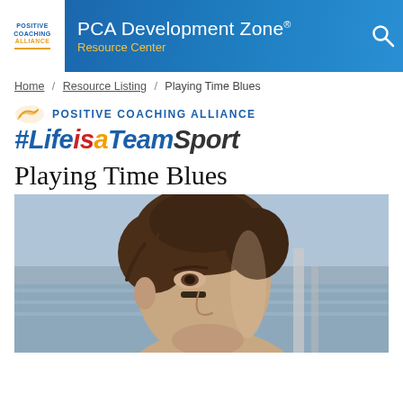PCA Development Zone® Resource Center
Home / Resource Listing / Playing Time Blues
[Figure (logo): Positive Coaching Alliance logo with #LifeisaTeamSport tagline]
Playing Time Blues
[Figure (photo): Young male athlete in profile view with a mouth guard, wearing dark jersey, with eye black marks on cheek, wet hair, blurred stadium background]